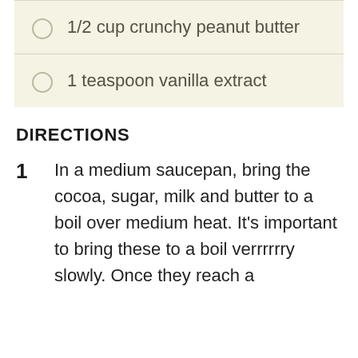1/2 cup crunchy peanut butter
1 teaspoon vanilla extract
DIRECTIONS
1  In a medium saucepan, bring the cocoa, sugar, milk and butter to a boil over medium heat. It's important to bring these to a boil verrrrrry slowly. Once they reach a